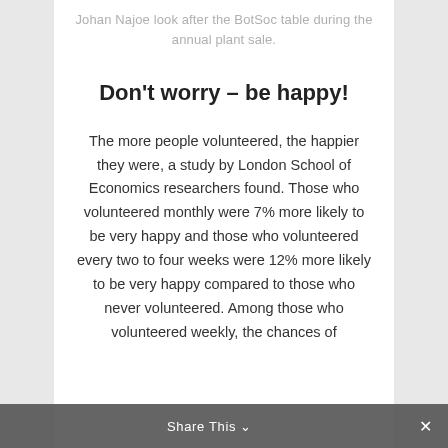Johan Najoe look after the BotSoc table during the annual plant sale.
Don't worry – be happy!
The more people volunteered, the happier they were, a study by London School of Economics researchers found. Those who volunteered monthly were 7% more likely to be very happy and those who volunteered every two to four weeks were 12% more likely to be very happy compared to those who never volunteered. Among those who volunteered weekly, the chances of
Share This ×